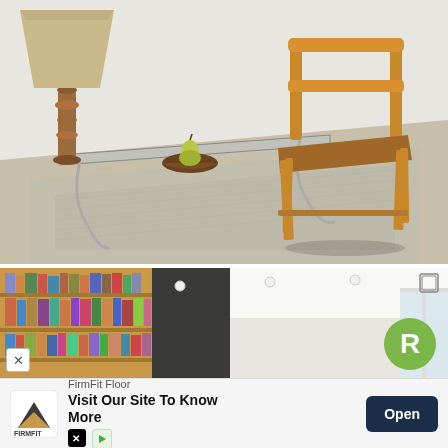[Figure (photo): Interior room photo showing a wooden floor lamp with burlap shade, a glass coffee table with chrome legs, a small wooden bowl with a pear, and a wooden chair with leather seat on a textured woven rug. Light background.]
[Figure (photo): Interior room photo showing a bookshelf filled with books on the left, white ceiling with recessed lights, a window on the right, and white walls. An expand/fullscreen icon is visible in the top right corner.]
FirmFit Floor
Visit Our Site To Know More
Open